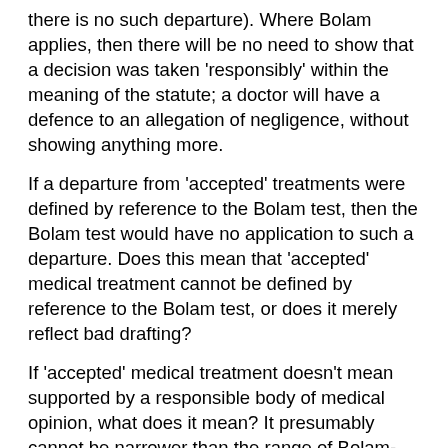there is no such departure). Where Bolam applies, then there will be no need to show that a decision was taken 'responsibly' within the meaning of the statute; a doctor will have a defence to an allegation of negligence, without showing anything more.
If a departure from 'accepted' treatments were defined by reference to the Bolam test, then the Bolam test would have no application to such a departure. Does this mean that 'accepted' medical treatment cannot be defined by reference to the Bolam test, or does it merely reflect bad drafting?
If 'accepted' medical treatment doesn't mean supported by a responsible body of medical opinion, what does it mean? It presumably cannot be narrower than the range of Bolam-compliant treatment, so it must be wider. We have so far had little guidance to assist here.
Could we find patients in the future seeking to argue that a treatment which has gone wrong was an